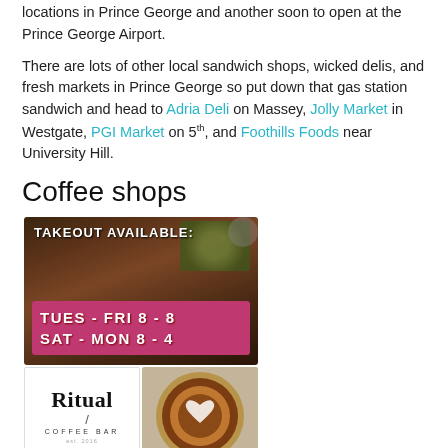locations in Prince George and another soon to open at the Prince George Airport.
There are lots of other local sandwich shops, wicked delis, and fresh markets in Prince George so put down that gas station sandwich and head to Adria Deli on Massey, Jolly Market in Westgate, PGI Market on 5th, and Foothills Foods near University Hill.
Coffee shops
[Figure (photo): Takeout Available banner: TUES - FRI 8 - 8, SAT - MON 8 - 4 on dark brown/pink background with food imagery]
[Figure (logo): Ritual Coffee Bar logo with serif font and slash mark, est. 2016]
[Figure (photo): Top-down photo of a latte with heart latte art in a dark cup, beige background]